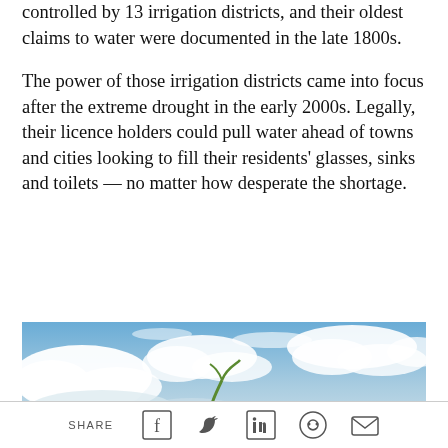controlled by 13 irrigation districts, and their oldest claims to water were documented in the late 1800s.
The power of those irrigation districts came into focus after the extreme drought in the early 2000s. Legally, their licence holders could pull water ahead of towns and cities looking to fill their residents' glasses, sinks and toilets — no matter how desperate the shortage.
[Figure (photo): Photo of blue sky with white clouds and the tip of a green plant visible at the bottom]
SHARE [Facebook] [Twitter] [LinkedIn] [Reddit] [Email]